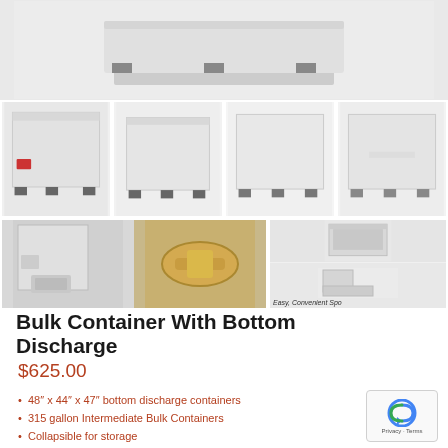[Figure (photo): Product photos of Bulk Container With Bottom Discharge: top image shows container on pallet, middle row shows 4 variants of white bulk containers, bottom row shows detail shots of bottom discharge mechanism and easy spout feature with caption 'Easy, Convenient Spo']
Bulk Container With Bottom Discharge
$625.00
48″ x 44″ x 47″ bottom discharge containers
315 gallon Intermediate Bulk Containers
Collapsible for storage